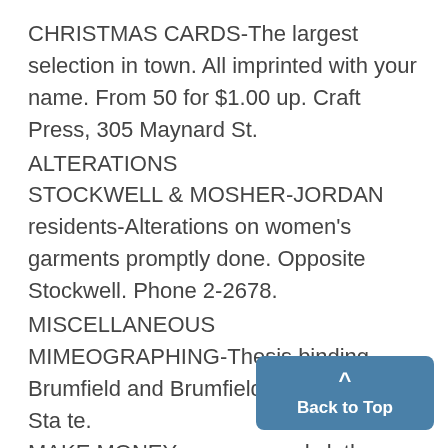CHRISTMAS CARDS-The largest selection in town. All imprinted with your name. From 50 for $1.00 up. Craft Press, 305 Maynard St.
ALTERATIONS
STOCKWELL & MOSHER-JORDAN residents-Alterations on women's garments promptly done. Opposite Stockwell. Phone 2-2678.
MISCELLANEOUS
MIMEOGRAPHING-Thesis binding. Brumfield and Brumfield, 308 S. Sta te.
MAKE MONEY-on your used clot h-